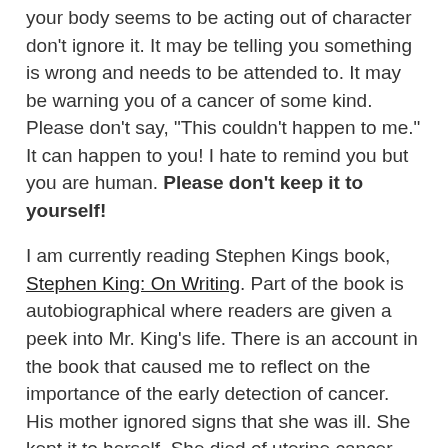your body seems to be acting out of character don't ignore it. It may be telling you something is wrong and needs to be attended to. It may be warning you of a cancer of some kind. Please don't say, "This couldn't happen to me." It can happen to you! I hate to remind you but you are human. Please don't keep it to yourself!
I am currently reading Stephen Kings book, Stephen King: On Writing. Part of the book is autobiographical where readers are given a peek into Mr. King's life. There is an account in the book that caused me to reflect on the importance of the early detection of cancer. His mother ignored signs that she was ill. She kept it to herself. She died of uterine cancer.
A Reflection On One Loved